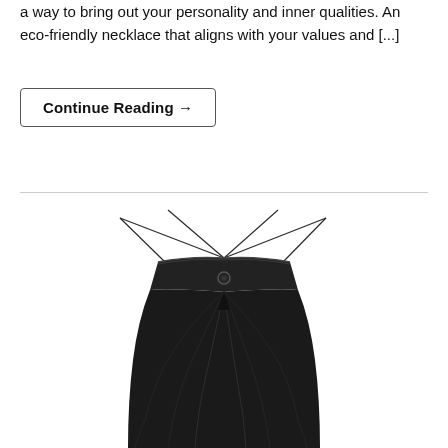a way to bring out your personality and inner qualities. An eco-friendly necklace that aligns with your values and [...]
Continue Reading →
[Figure (photo): A black draped fabric garment or top with thin wire/strap detailing at the top forming a geometric shape, cinched at the waist, with flowing skirt-like lower portion, photographed on white background.]